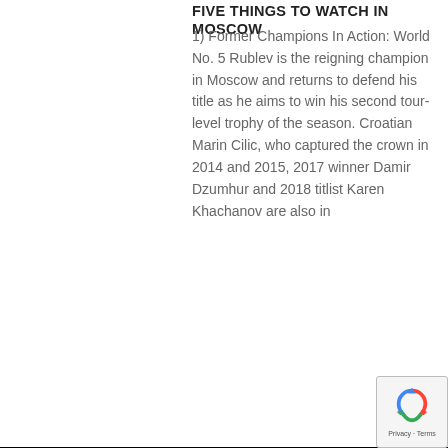FIVE THINGS TO WATCH IN MOSCOW
1) Former Champions In Action: World No. 5 Rublev is the reigning champion in Moscow and returns to defend his title as he aims to win his second tour-level trophy of the season. Croatian Marin Cilic, who captured the crown in 2014 and 2015, 2017 winner Damir Dzumhur and 2018 titlist Karen Khachanov are also in
...Olympics ...21 ...are the ...dence ...eaching ...s Open ...nov are
[Figure (screenshot): Cookie consent modal overlay on a black background with text: 'We use technology such as cookies on our website, to provide functions and analysis of our visitor data. Click Accept to confirm that you agree to its use.' with buttons for Privacy Policy, Terms & Conditions, and ACCEPT]
[Figure (logo): Google reCAPTCHA badge with spinning arrows icon and 'Privacy - Terms' text]
former singles champions in Moscow